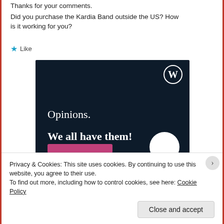Thanks for your comments.
Did you purchase the Kardia Band outside the US? How is it working for you?
★ Like
[Figure (illustration): WordPress.com advertisement banner with dark navy background, WordPress logo (W in circle) at top right, text 'Opinions. We all have them!' in white serif font, pink button bar at bottom left, white circle at bottom right.]
Privacy & Cookies: This site uses cookies. By continuing to use this website, you agree to their use.
To find out more, including how to control cookies, see here: Cookie Policy
Close and accept